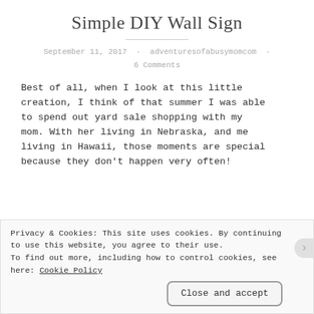Simple DIY Wall Sign
September 11, 2017 · adventuresofabusymomcom · 6 Comments
Best of all, when I look at this little creation, I think of that summer I was able to spend out yard sale shopping with my mom. With her living in Nebraska, and me living in Hawaii, those moments are special because they don't happen very often!
Privacy & Cookies: This site uses cookies. By continuing to use this website, you agree to their use. To find out more, including how to control cookies, see here: Cookie Policy
Close and accept